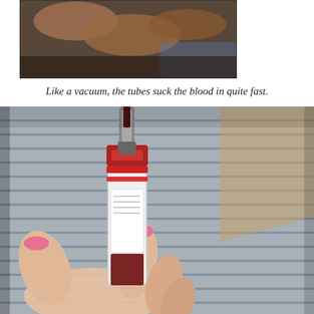[Figure (photo): Close-up photo of a hand holding a needle/syringe device, partial view at top of page]
Like a vacuum, the tubes suck the blood in quite fast.
[Figure (photo): Photo of a hand with pink-painted fingernails holding a blood collection tube (vacutainer) being filled with dark red blood from a needle device attached at the top]